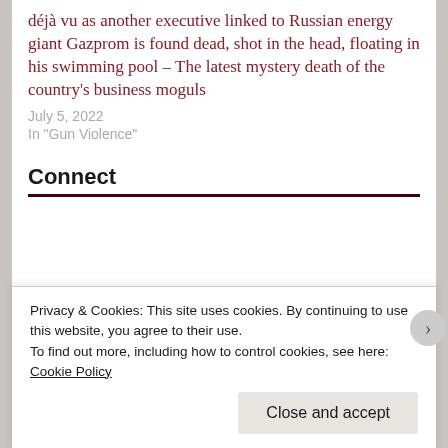déjà vu as another executive linked to Russian energy giant Gazprom is found dead, shot in the head, floating in his swimming pool – The latest mystery death of the country's business moguls
July 5, 2022
In "Gun Violence"
Connect
Privacy & Cookies: This site uses cookies. By continuing to use this website, you agree to their use.
To find out more, including how to control cookies, see here: Cookie Policy